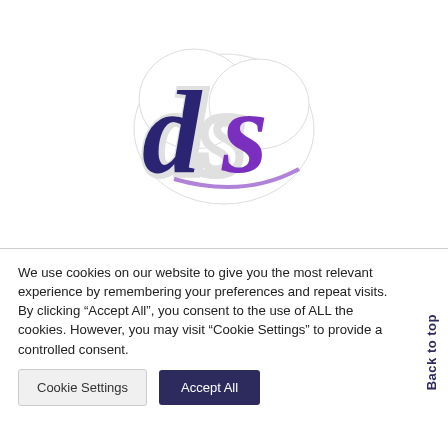[Figure (logo): Stylized 'ds' logo with dark blue and purple script letters on a white cloud-like background shape]
We use cookies on our website to give you the most relevant experience by remembering your preferences and repeat visits. By clicking “Accept All”, you consent to the use of ALL the cookies. However, you may visit “Cookie Settings” to provide a controlled consent.
Cookie Settings
Accept All
Back to top